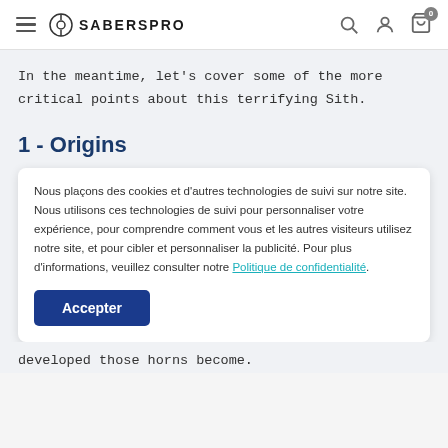SABERSPRO
In the meantime, let's cover some of the more critical points about this terrifying Sith.
1 - Origins
Nous plaçons des cookies et d'autres technologies de suivi sur notre site. Nous utilisons ces technologies de suivi pour personnaliser votre expérience, pour comprendre comment vous et les autres visiteurs utilisez notre site, et pour cibler et personnaliser la publicité. Pour plus d'informations, veuillez consulter notre Politique de confidentialité.
Accepter
developed those horns become.